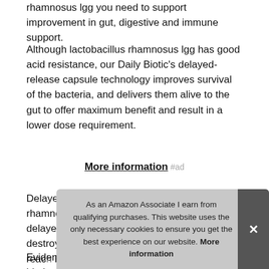rhamnosus lgg you need to support improvement in gut, digestive and immune support.
Although lactobacillus rhamnosus lgg has good acid resistance, our Daily Biotic's delayed-release capsule technology improves survival of the bacteria, and delivers them alive to the gut to offer maximum benefit and result in a lower dose requirement.
More information #ad
Delayed-release technology: lactobacillus rhamnosus lgg delivery is improved with delayed-release capsules as stomach acid can destroy bacteria and reduce their ability to reach... bring... and...
Evidence-based dose: Inessa's advanced daily biotic provides
As an Amazon Associate I earn from qualifying purchases. This website uses the only necessary cookies to ensure you get the best experience on our website. More information